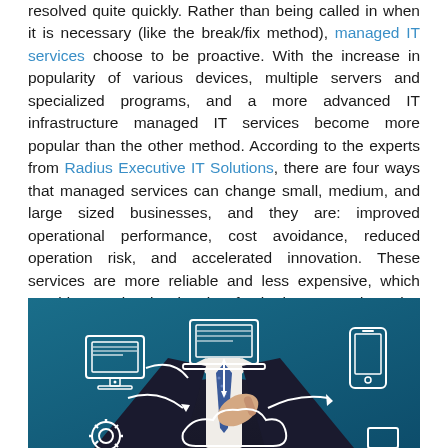resolved quite quickly. Rather than being called in when it is necessary (like the break/fix method), managed IT services choose to be proactive. With the increase in popularity of various devices, multiple servers and specialized programs, and a more advanced IT infrastructure managed IT services become more popular than the other method. According to the experts from Radius Executive IT Solutions, there are four ways that managed services can change small, medium, and large sized businesses, and they are: improved operational performance, cost avoidance, reduced operation risk, and accelerated innovation. These services are more reliable and less expensive, which provides a win-win situation for both managed service providers and modern businesses.
[Figure (photo): A businessman in a dark suit and blue polka-dot tie drawing IT infrastructure diagrams (desktop computer, laptop, smartphone, cloud icons with arrows) on a transparent surface, against a teal background.]